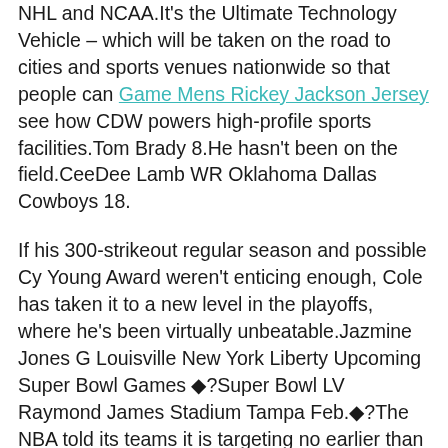NHL and NCAA.It's the Ultimate Technology Vehicle – which will be taken on the road to cities and sports venues nationwide so that people can Game Mens Rickey Jackson Jersey see how CDW powers high-profile sports facilities.Tom Brady 8.He hasn't been on the field.CeeDee Lamb WR Oklahoma Dallas Cowboys 18.
If his 300-strikeout regular season and possible Cy Young Award weren't enticing enough, Cole has taken it to a new level in the playoffs, where he's been virtually unbeatable.Jazmine Jones G Louisville New York Liberty Upcoming Super Bowl Games ◆?Super Bowl LV Raymond James Stadium Tampa Feb.◆?The NBA told its teams it is targeting no earlier than May 8 for the possible opening of training facilities in some